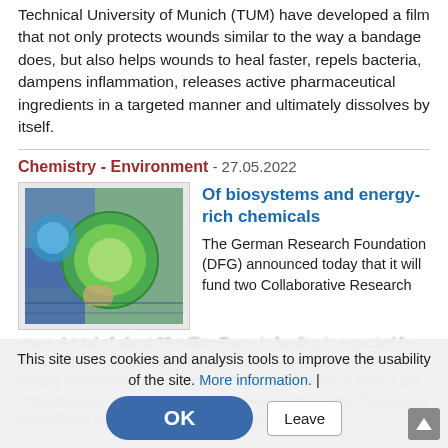Technical University of Munich (TUM) have developed a film that not only protects wounds similar to the way a bandage does, but also helps wounds to heal faster, repels bacteria, dampens inflammation, releases active pharmaceutical ingredients in a targeted manner and ultimately dissolves by itself.
Chemistry - Environment - 27.05.2022
[Figure (photo): Photo of laboratory petri dishes with green biological samples]
Of biosystems and energy-rich chemicals
The German Research Foundation (DFG) announced today that it will fund two Collaborative Research
This site uses cookies and analysis tools to improve the usability of the site. More information. |
years. A total of about 25 million Euros in funding is expected for the projects at these high-scale research associations. This will enable researchers to continue the successful work of CRC 1127 "ChemBioSys" and the Collaborative Research Centre/Transregio (CRC/TRR) 234 "CataLight", which is tun